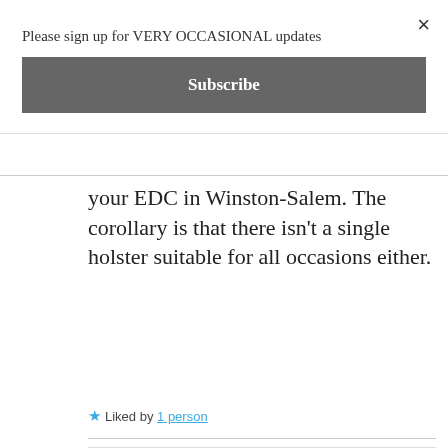Please sign up for VERY OCCASIONAL updates
Subscribe
your EDC in Winston-Salem. The corollary is that there isn't a single holster suitable for all occasions either.
Liked by 1 person
[Figure (logo): Purple geometric diamond/cross pattern logo for Tom in NC]
Tom in NC
NOVEMBER 12,